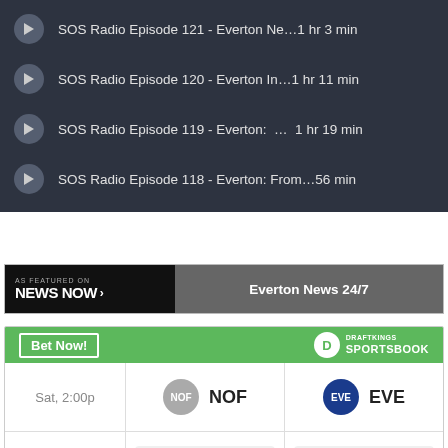SOS Radio Episode 121 - Everton Ne…1 hr 3 min
SOS Radio Episode 120 - Everton In…1 hr 11 min
SOS Radio Episode 119 - Everton: … 1 hr 19 min
SOS Radio Episode 118 - Everton: From…56 min
[Figure (logo): AS FEATURED ON News Now banner with Everton News 24/7 text]
[Figure (infographic): DraftKings Sportsbook betting widget showing NOF vs EVE, Sat 2:00p, SPREAD +0.5 (-115) vs -0.5 (-110)]